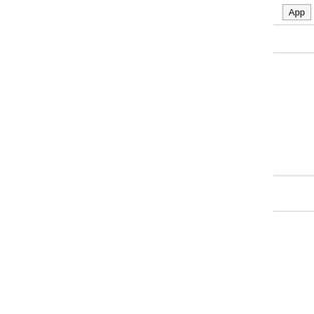App
If you notice a non-payer or scam
Apply for M
Receive All New Translation J
Get job notifications e-mailed to
Contact 6,000+ Potentia
Post your t
If you can't find the job announcement you have been notified... that post
[Figure (screenshot): ENHANCED BY Google search bar]